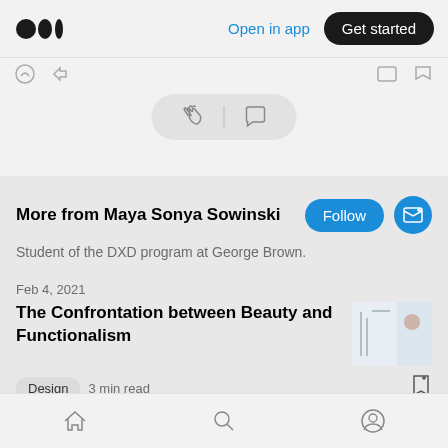Open in app | Get started
[Figure (screenshot): Clap and comment icon pill in the top interaction bar]
More from Maya Sonya Sowinski
Student of the DXD program at George Brown.
Feb 4, 2021
The Confrontation between Beauty and Functionalism
Design  3 min read
Home | Search | Profile